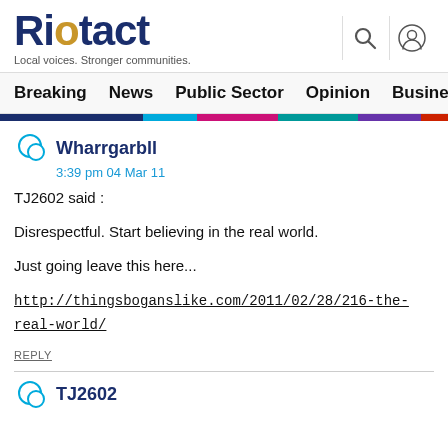Riotact - Local voices. Stronger communities.
Breaking | News | Public Sector | Opinion | Business | R
Wharrgarbll
3:39 pm 04 Mar 11
TJ2602 said :

Disrespectful. Start believing in the real world.

Just going leave this here...

http://thingsboganslike.com/2011/02/28/216-the-real-world/
REPLY
TJ2602